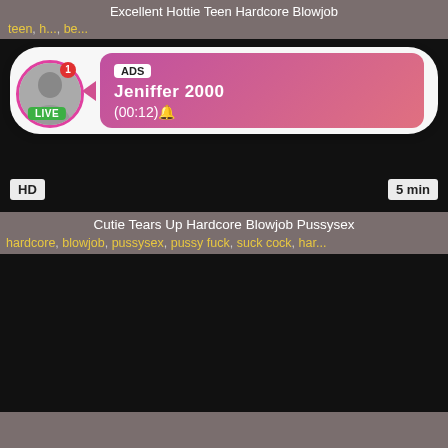Excellent Hottie Teen Hardcore Blowjob
teen, h..., be...
[Figure (other): Video player showing dark/black content with HD badge and 5 min duration, overlaid by an ad popup for Jeniffer 2000 LIVE stream]
Cutie Tears Up Hardcore Blowjob Pussysex
hardcore, blowjob, pussysex, pussy fuck, suck cock, har...
[Figure (other): Second video player showing dark/black content]